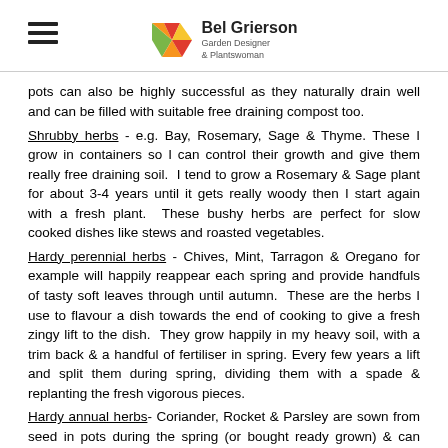Bel Grierson Garden Designer & Plantswoman
pots can also be highly successful as they naturally drain well and can be filled with suitable free draining compost too.
Shrubby herbs - e.g. Bay, Rosemary, Sage & Thyme. These I grow in containers so I can control their growth and give them really free draining soil. I tend to grow a Rosemary & Sage plant for about 3-4 years until it gets really woody then I start again with a fresh plant. These bushy herbs are perfect for slow cooked dishes like stews and roasted vegetables.
Hardy perennial herbs - Chives, Mint, Tarragon & Oregano for example will happily reappear each spring and provide handfuls of tasty soft leaves through until autumn. These are the herbs I use to flavour a dish towards the end of cooking to give a fresh zingy lift to the dish. They grow happily in my heavy soil, with a trim back & a handful of fertiliser in spring. Every few years a lift and split them during spring, dividing them with a spade & replanting the fresh vigorous pieces.
Hardy annual herbs- Coriander, Rocket & Parsley are sown from seed in pots during the spring (or bought ready grown) & can then be planted in the herb bed alongside the perennials as long as they have a drink occasionally in the hottest summer months. Although Parsley is actually a perennial I tend to